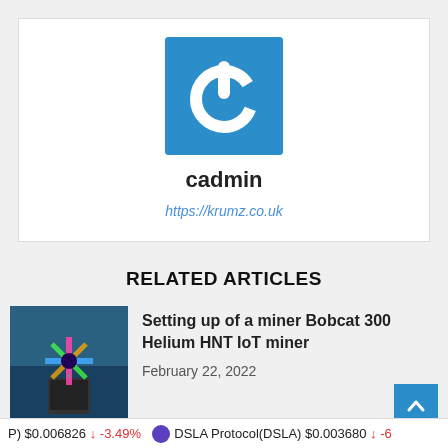[Figure (logo): Blue square logo with white power button icon]
cadmin
https://krumz.co.uk
RELATED ARTICLES
[Figure (photo): Bobcat 300 Helium HNT IoT miner with colorful LED lights]
Setting up of a miner Bobcat 300 Helium HNT IoT miner
February 22, 2022
P) $0.006826 ↓ -3.49%   DSLA Protocol(DSLA) $0.003680 ↓ -6